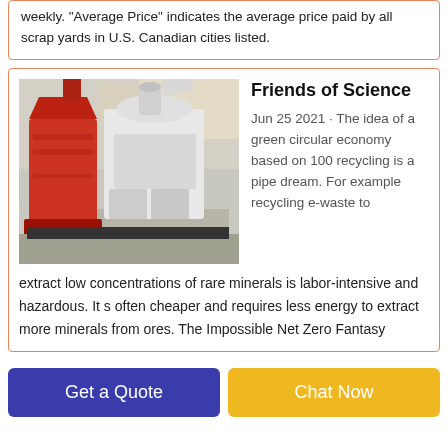weekly. "Average Price" indicates the average price paid by all scrap yards in U.S. Canadian cities listed.
[Figure (photo): Photo of an industrial recycling or processing machine with red and white components, inside a factory or warehouse setting.]
Friends of Science
Jun 25 2021 · The idea of a green circular economy based on 100 recycling is a pipe dream. For example recycling e-waste to extract low concentrations of rare minerals is labor-intensive and hazardous. It s often cheaper and requires less energy to extract more minerals from ores. The Impossible Net Zero Fantasy
Get a Quote
Chat Now